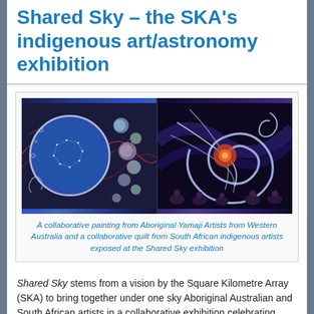Shared Sky – the SKA's indigenous art/astronomy exhibition
[Figure (photo): Two artworks side by side: left is a collaborative painting from Aboriginal Yamaji Artists showing a blue celestial orb with dot patterns; right is a collaborative quilt from South African indigenous artists showing spiraling blue and purple swirls with figures below.]
A collaborative painting from Aboriginal Yamaji Artists from Western Australia and a collaborative quilt from South African indigenous artists exposed at the Shared Sky exhibition
Shared Sky stems from a vision by the Square Kilometre Array (SKA) to bring together under one sky Aboriginal Australian and South African artists in a collaborative exhibition celebrating humanity's ancient cultural wisdom. This vision embodies the